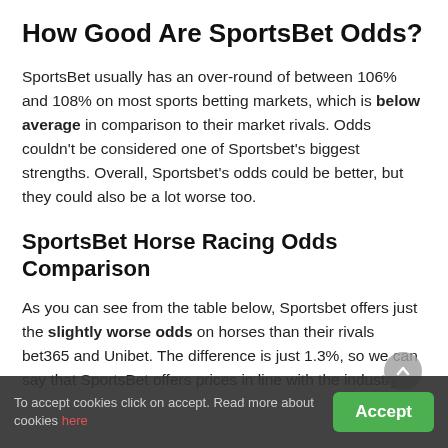How Good Are SportsBet Odds?
SportsBet usually has an over-round of between 106% and 108% on most sports betting markets, which is below average in comparison to their market rivals. Odds couldn't be considered one of Sportsbet's biggest strengths. Overall, Sportsbet's odds could be better, but they could also be a lot worse too.
SportsBet Horse Racing Odds Comparison
As you can see from the table below, Sportsbet offers just the slightly worse odds on horses than their rivals bet365 and Unibet. The difference is just 1.3%, so we can say that SportsBet offers prices in line with the industry standard. But
To accept cookies click on accept. Read more about cookies here